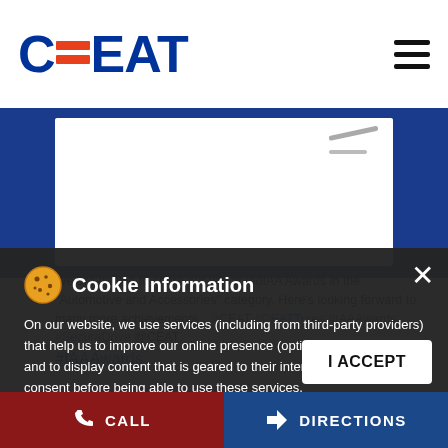CEAT
[Figure (screenshot): White card area with decorative diagonal lines visible on blue background section of the CEAT website]
We are thrilled to share our win at IndIAA Awards in the "Automotive and Accessories" category. Here's looking forward to many more achievements... #CEAT #CEATTyres #IAAAwards #SecuraDrive @CEAT
Cookie Information
On our website, we use services (including from third-party providers) that help us to improve our online presence (optimization of website) and to display content that is geared to their interests. We need your consent before being able to use these services.
#IAAAwards
I ACCEPT
CALL   DIRECTIONS